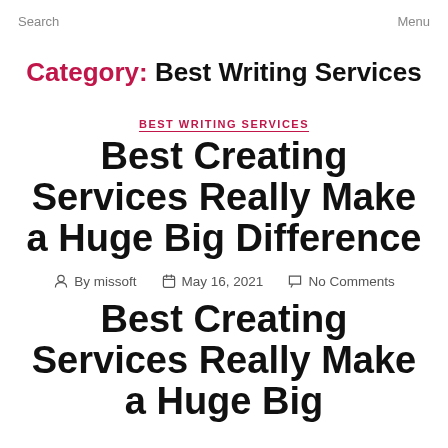Search    Menu
Category: Best Writing Services
BEST WRITING SERVICES
Best Creating Services Really Make a Huge Big Difference
By missoft   May 16, 2021   No Comments
Best Creating Services Really Make a Huge Big